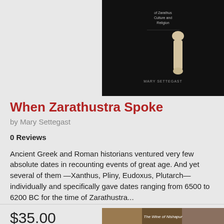[Figure (photo): Book cover of 'When Zarathustra Spoke' by Mary Settegast with dark background and bone/ivory figurine]
When Zarathustra Spoke
by Mary Settegast
0 Reviews
Ancient Greek and Roman historians ventured very few absolute dates in recounting events of great age. And yet several of them —Xanthus, Pliny, Eudoxus, Plutarch—individually and specifically gave dates ranging from 6500 to 6200 BC for the time of Zarathustra...
$35.00
[Figure (photo): Partial view of another book cover titled 'The Wine of Nishapur' or similar, with brown/earth-toned imagery]